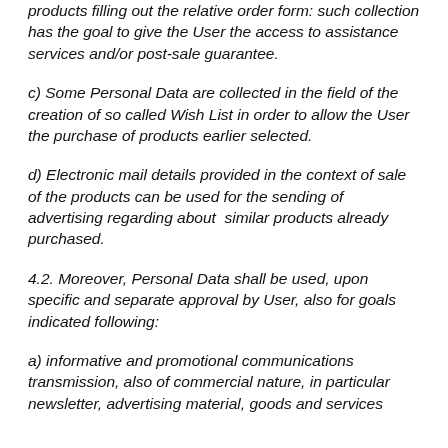products filling out the relative order form: such collection has the goal to give the User the access to assistance services and/or post-sale guarantee.
c) Some Personal Data are collected in the field of the creation of so called Wish List in order to allow the User the purchase of products earlier selected.
d) Electronic mail details provided in the context of sale of the products can be used for the sending of advertising regarding about  similar products already purchased.
4.2. Moreover, Personal Data shall be used, upon specific and separate approval by User, also for goals indicated following:
a) informative and promotional communications transmission, also of commercial nature, in particular newsletter, advertising material, goods and services